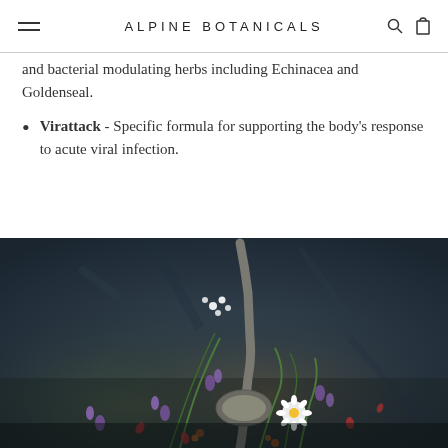ALPINE BOTANICALS
and bacterial modulating herbs including Echinacea and Goldenseal.
Virattack - Specific formula for supporting the body's response to acute viral infection.
[Figure (photo): Overhead photo of dried herbs and wildflowers with a vintage silver spoon on a dark rustic background]